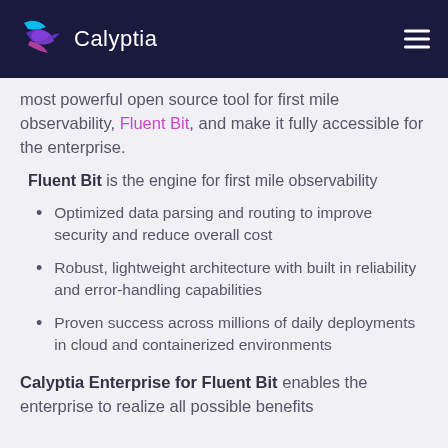Calyptia
most powerful open source tool for first mile observability, Fluent Bit, and make it fully accessible for the enterprise.
Fluent Bit is the engine for first mile observability
Optimized data parsing and routing to improve security and reduce overall cost
Robust, lightweight architecture with built in reliability and error-handling capabilities
Proven success across millions of daily deployments in cloud and containerized environments
Calyptia Enterprise for Fluent Bit enables the enterprise to realize all possible benefits